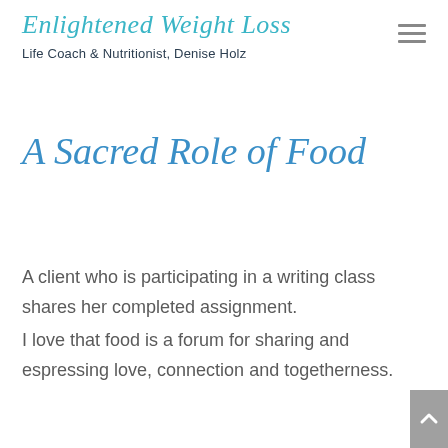Enlightened Weight Loss
Life Coach & Nutritionist, Denise Holz
A Sacred Role of Food
A client who is participating in a writing class shares her completed assignment.
I love that food is a forum for sharing and espressing love, connection and togetherness.